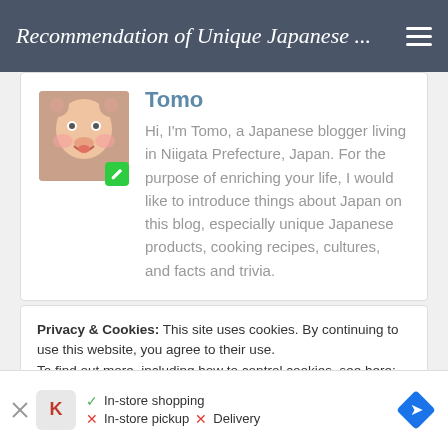Recommendation of Unique Japanese ...
Tomo
Hi, I'm Tomo, a Japanese blogger living in Niigata Prefecture, Japan. For the purpose of enriching your life, I would like to introduce things about Japan on this blog, especially unique Japanese products, cooking recipes, cultures, and facts and trivia.
Privacy & Cookies: This site uses cookies. By continuing to use this website, you agree to their use.
To find out more, including how to control cookies, see here: Cookie Policy
In-store shopping  In-store pickup  Delivery